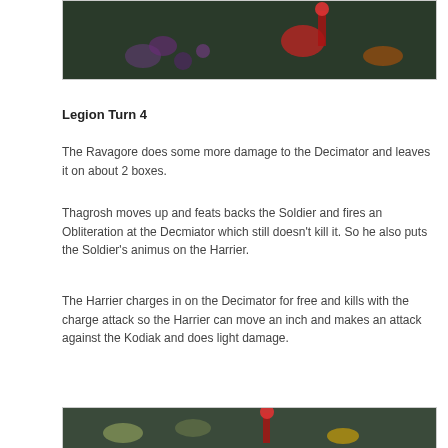[Figure (photo): A game board scene with miniature figures on a dark green surface, showing various colored game pieces.]
Legion Turn 4
The Ravagore does some more damage to the Decimator and leaves it on about 2 boxes.
Thagrosh moves up and feats backs the Soldier and fires an Obliteration at the Decmiator which still doesn't kill it. So he also puts the Soldier's animus on the Harrier.
The Harrier charges in on the Decimator for free and kills with the charge attack so the Harrier can move an inch and makes an attack against the Kodiak and does light damage.
[Figure (photo): Another game board scene with miniature figures on a green surface with red and yellow game pieces visible.]